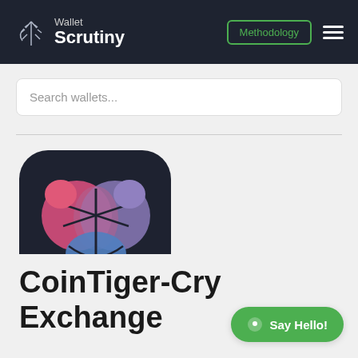Wallet Scrutiny — Methodology
Search wallets...
[Figure (logo): CoinTiger app icon: dark rounded square with a stylized tiger face made of pink, purple, and blue shapes]
CoinTiger-Crypto Exchange